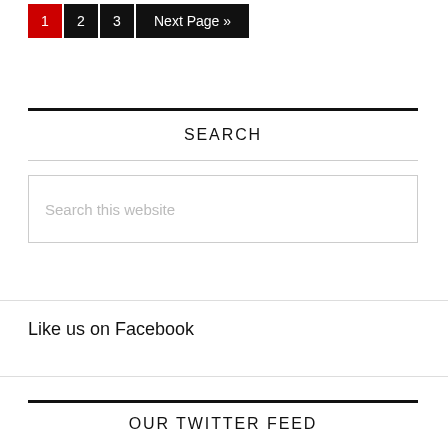1  2  3  Next Page »
SEARCH
Search this website
Like us on Facebook
OUR TWITTER FEED